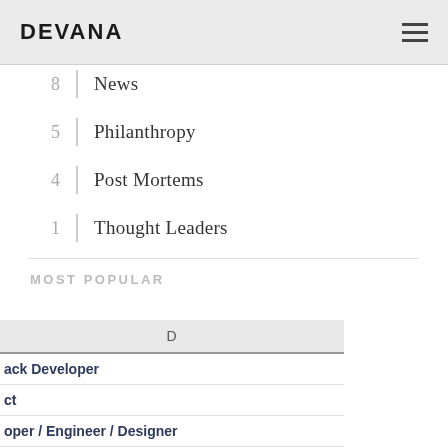DEVANA
8 | News
5 | Philanthropy
4 | Post Mortems
1 | Thought Leaders
MOST POPULAR
| D |
| --- |
| ack Developer |
| ct |
| oper / Engineer / Designer |
| ner Acquisition |
| ner Happiness |
| tions |